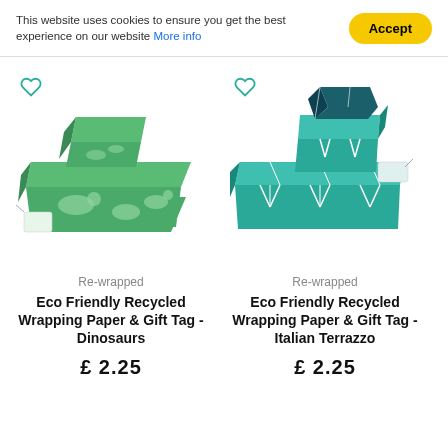This website uses cookies to ensure you get the best experience on our website More info
Accept
[Figure (photo): Wrapped gift boxes with green dinosaur pattern wrapping paper and a gift tag]
Re-wrapped
Eco Friendly Recycled Wrapping Paper & Gift Tag - Dinosaurs
£2.25
[Figure (photo): Wrapped gift boxes with teal and white geometric/star pattern wrapping paper and a gift tag]
Re-wrapped
Eco Friendly Recycled Wrapping Paper & Gift Tag - Italian Terrazzo
£2.25
[Figure (photo): Partial view of wrapped gift box with white/cream wrapping paper with animal (rabbit) pattern]
[Figure (photo): Partial view of wrapped gift box with light green wrapping paper with small house/tree pattern]